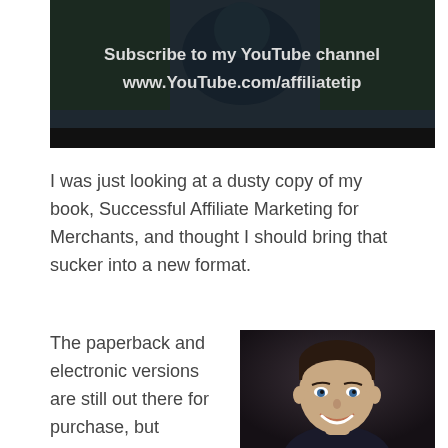[Figure (screenshot): YouTube channel thumbnail with text 'Subscribe to my YouTube channel www.YouTube.com/affiliatetip' over a dark background image of a person outdoors.]
I was just looking at a dusty copy of my book, Successful Affiliate Marketing for Merchants, and thought I should bring that sucker into a new format.
The paperback and electronic versions are still out there for purchase, but
[Figure (photo): Portrait photo of a smiling man with dark hair against a dark background.]